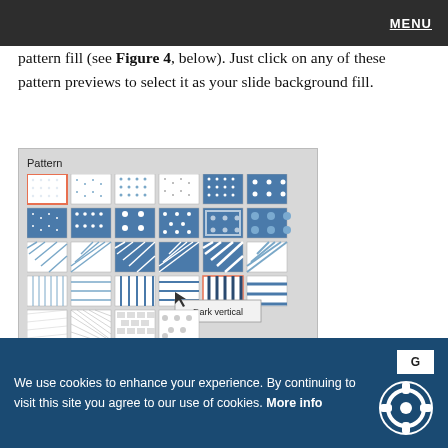MENU
pattern fill (see Figure 4, below). Just click on any of these pattern previews to select it as your slide background fill.
[Figure (screenshot): Screenshot of a pattern fill selector panel showing a grid of pattern preview thumbnails in rows. A tooltip reading 'Dark vertical' appears over one of the pattern swatches. The panel has a 'Pattern' label at top left.]
We use cookies to enhance your experience. By continuing to visit this site you agree to our use of cookies. More info